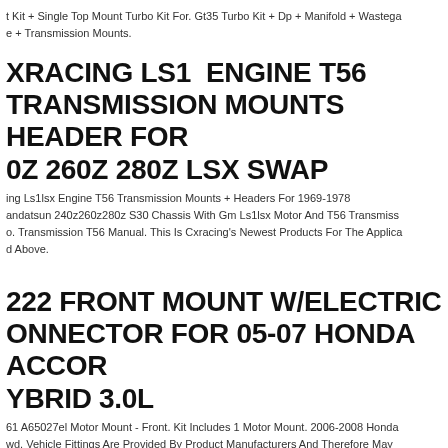t Kit + Single Top Mount Turbo Kit For. Gt35 Turbo Kit + Dp + Manifold + Wastega e + Transmission Mounts.
XRACING LS1 ENGINE T56 TRANSMISSION MOUNTS HEADER FOR 0Z 260Z 280Z LSX SWAP
ing Ls1lsx Engine T56 Transmission Mounts + Headers For 1969-1978 andatsun 240z260z280z S30 Chassis With Gm Ls1lsx Motor And T56 Transmiss o. Transmission T56 Manual. This Is Cxracing's Newest Products For The Applica d Above.
222 FRONT MOUNT W/ELECTRIC ONNECTOR FOR 05-07 HONDA ACCOR YBRID 3.0L
61 A65027el Motor Mount - Front. Kit Includes 1 Motor Mount. 2006-2008 Honda wd. Vehicle Fittings Are Provided By Product Manufacturers And Therefore May act. This Warranty Is Considered Void If.